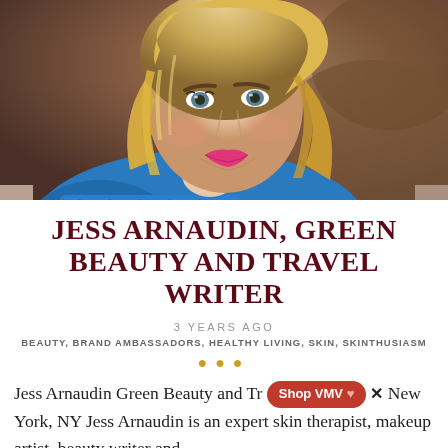[Figure (photo): Portrait photo of a blonde woman smiling, wearing a blue patterned top, with a warm brownish background]
JESS ARNAUDIN, GREEN BEAUTY AND TRAVEL WRITER
3 YEARS AGO
BEAUTY, BRAND AMBASSADORS, HEALTHY LIVING, SKIN, SKINTHUSIASM
Jess Arnaudin Green Beauty and Travel [Shop VMV ♥] New York, NY Jess Arnaudin is an expert skin therapist, makeup artist, beauty writer and
[Figure (screenshot): Shop VMV popup button with heart icon and close X]